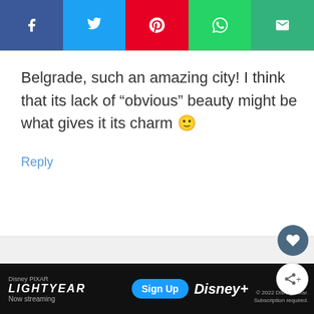[Figure (infographic): Social media share buttons bar: Facebook (dark blue), Twitter (light blue), Pinterest (red), WhatsApp (green), Email (green)]
Belgrade, such an amazing city! I think that its lack of “obvious” beauty might be what gives it its charm 😊
Reply
[Figure (infographic): Next commenter avatar (gray circle) and name label: Katie]
[Figure (infographic): Disney Pixar Lightyear advertisement banner at bottom of page with Sign Up button and Disney+ logo]